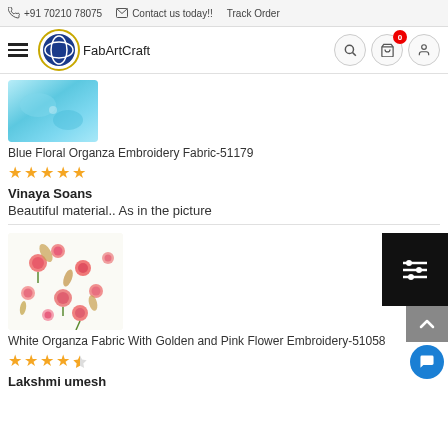+91 70210 78075   Contact us today!!   Track Order
[Figure (screenshot): FabArtCraft website navigation bar with hamburger menu, logo, search, cart (0), and user icons]
[Figure (photo): Blue Floral Organza Embroidery Fabric-51179 product thumbnail showing light blue textured fabric]
Blue Floral Organza Embroidery Fabric-51179
★★★★★ (5 stars)
Vinaya Soans
Beautiful material.. As in the picture
[Figure (photo): White Organza Fabric With Golden and Pink Flower Embroidery-51058 product thumbnail showing white fabric with pink and gold floral embroidery]
White Organza Fabric With Golden and Pink Flower Embroidery-51058
★★★★½ (4.5 stars)
Lakshmi umesh